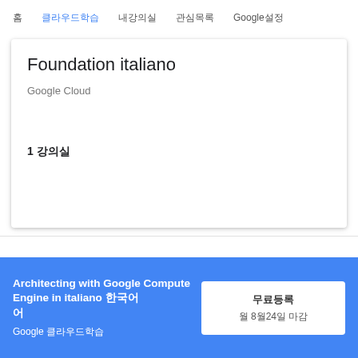홈  클라우드학습  내강의실  관심목록  Google설정
Foundation italiano
Google Cloud
1 강의실
Architecting with Google Compute Engine in italiano 한국어 Google 클라우드학습
무료등록
월 8월24일 마감